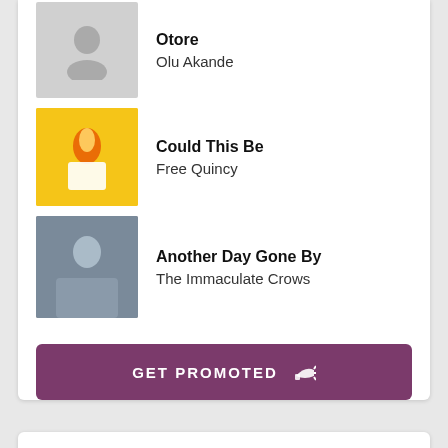Otore – Olu Akande
Could This Be – Free Quincy
Another Day Gone By – The Immaculate Crows
GET PROMOTED
Quiz | Are you a music master?
He was a hard-headed man he was brutally handsome and she was _______ pretty.
A. Unmistakably